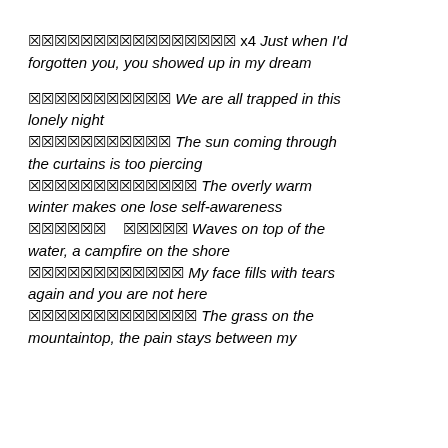🀫🀫🀫🀫🀫🀫🀫🀫🀫🀫🀫🀫🀫🀫🀫🀫 x4 Just when I'd forgotten you, you showed up in my dream
🀫🀫🀫🀫🀫🀫🀫🀫🀫🀫🀫 We are all trapped in this lonely night
🀫🀫🀫🀫🀫🀫🀫🀫🀫🀫🀫 The sun coming through the curtains is too piercing
🀫🀫🀫🀫🀫🀫🀫🀫🀫🀫🀫🀫🀫 The overly warm winter makes one lose self-awareness
🀫🀫🀫🀫🀫🀫    🀫🀫🀫🀫🀫 Waves on top of the water, a campfire on the shore
🀫🀫🀫🀫🀫🀫🀫🀫🀫🀫🀫🀫 My face fills with tears again and you are not here
🀫🀫🀫🀫🀫🀫🀫🀫🀫🀫🀫🀫🀫 The grass on the mountaintop, the pain stays between my